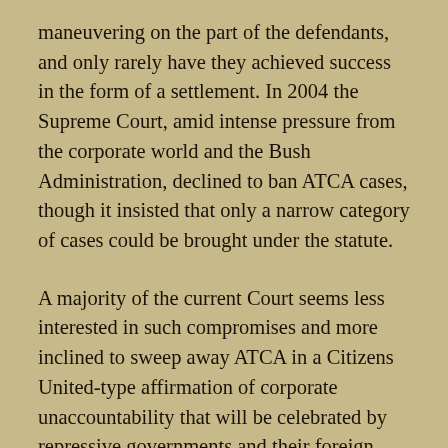maneuvering on the part of the defendants, and only rarely have they achieved success in the form of a settlement. In 2004 the Supreme Court, amid intense pressure from the corporate world and the Bush Administration, declined to ban ATCA cases, though it insisted that only a narrow category of cases could be brought under the statute.
A majority of the current Court seems less interested in such compromises and more inclined to sweep away ATCA in a Citizens United-type affirmation of corporate unaccountability that will be celebrated by repressive governments and their foreign investors around the world.